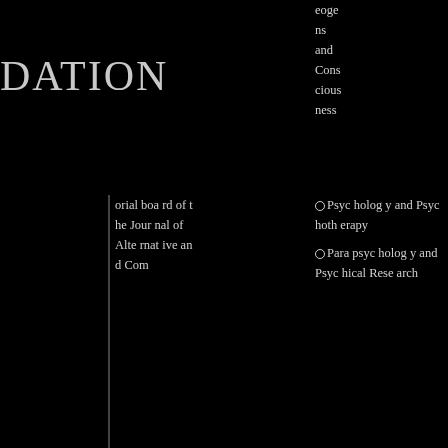DATION
orial board of the Journal of Alternative and Com
eoge ns and Consciousness
Psychology and Psychotherapy
Parapsychology and Psychical Research